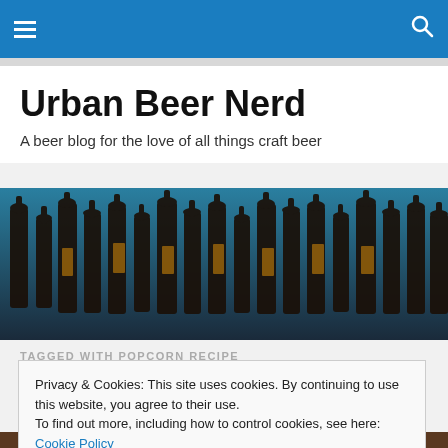Urban Beer Nerd — Navigation bar with hamburger menu and search icon
Urban Beer Nerd
A beer blog for the love of all things craft beer
[Figure (photo): Rows of dark beer bottles on shelves with a blue-lit background]
TAGGED WITH POPCORN RECIPE
Privacy & Cookies: This site uses cookies. By continuing to use this website, you agree to their use.
To find out more, including how to control cookies, see here: Cookie Policy
Close and accept
[Figure (photo): Partial view of food/beer image at bottom of page]